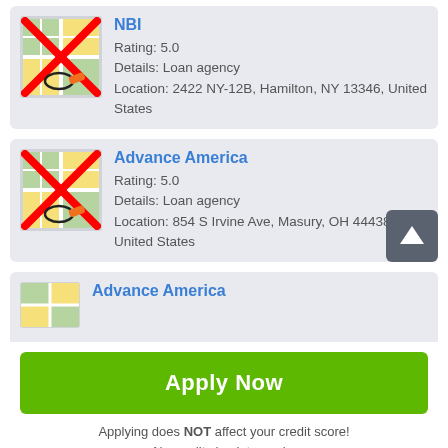[Figure (screenshot): Map marker icon with red X overlay and location pin]
NBI
Rating: 5.0
Details: Loan agency
Location: 2422 NY-12B, Hamilton, NY 13346, United States
[Figure (screenshot): Map marker icon with red X overlay and location pin]
Advance America
Rating: 5.0
Details: Loan agency
Location: 854 S Irvine Ave, Masury, OH 44438, United States
[Figure (screenshot): Map marker icon with red X overlay and location pin]
Advance America
Apply Now
Applying does NOT affect your credit score!
No credit check to apply.